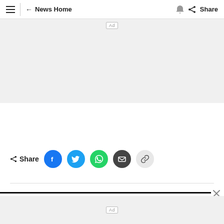≡ ← News Home 🔔 Share
[Figure (screenshot): Advertisement placeholder box labeled 'Ad' on gray background at top]
[Figure (infographic): Share buttons row: Share label with icon, Facebook, Twitter, WhatsApp, Email, Copy Link circles]
[Figure (screenshot): Advertisement placeholder box labeled 'Ad' on gray background at bottom with close X button and thick black bar]